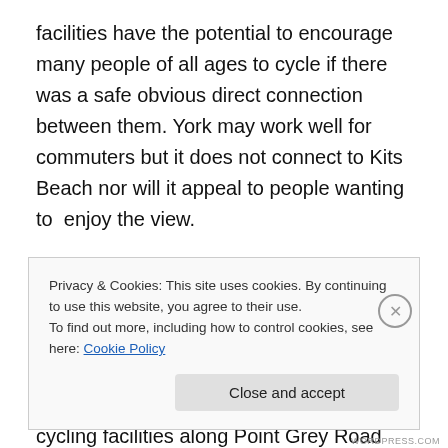facilities have the potential to encourage many people of all ages to cycle if there was a safe obvious direct connection between them. York may work well for commuters but it does not connect to Kits Beach nor will it appeal to people wanting to  enjoy the view.

The separated bike lanes on Burrard Bridge and Hornby Street are well designed and have the capacity to handle thousands more bicycle trips per day. Connecting them to the vastly improved cycling facilities along Point Grey Road with separated bike lanes along Cornwall is the best
Privacy & Cookies: This site uses cookies. By continuing to use this website, you agree to their use.
To find out more, including how to control cookies, see here: Cookie Policy
Close and accept
WORDPRESS.COM